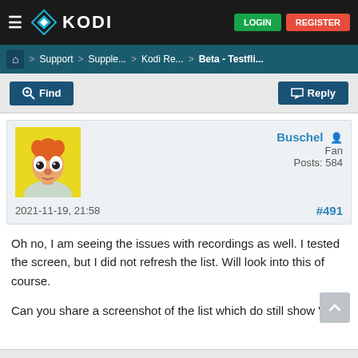≡  KODI    LOGIN  REGISTER
🏠 > Support > Supple... > Kodi Re... > Beta - Testfli...
Find    Reply
Buschel  Fan  Posts: 584  2021-11-19, 21:58  #491
Oh no, I am seeing the issues with recordings as well. I tested the screen, but I did not refresh the list. Will look into this of course.

Can you share a screenshot of the list which do still show "0"?